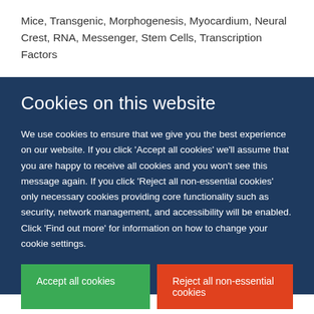Mice, Transgenic, Morphogenesis, Myocardium, Neural Crest, RNA, Messenger, Stem Cells, Transcription Factors
Cookies on this website
We use cookies to ensure that we give you the best experience on our website. If you click 'Accept all cookies' we'll assume that you are happy to receive all cookies and you won't see this message again. If you click 'Reject all non-essential cookies' only necessary cookies providing core functionality such as security, network management, and accessibility will be enabled. Click 'Find out more' for information on how to change your cookie settings.
Accept all cookies
Reject all non-essential cookies
Find out more